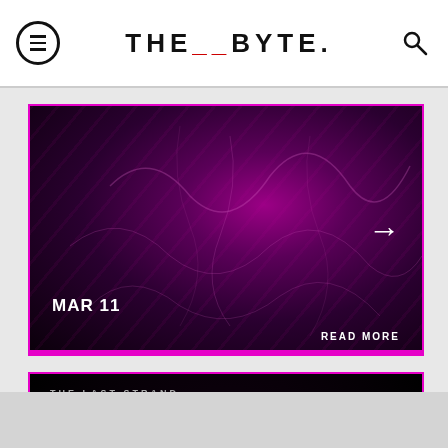THE_BYTE.
[Figure (photo): Dark purple/magenta microscopy image with biological strands, date MAR 11 and READ MORE text, with right arrow]
[Figure (photo): Dark purple/black microscopy image background for article card with THE LAST STRAND section label and article title]
THE LAST STRAND
SCIENTISTS PUZZLED BY WEIRD "STRANDS" AT THE CENTER OF OUR GALAXY